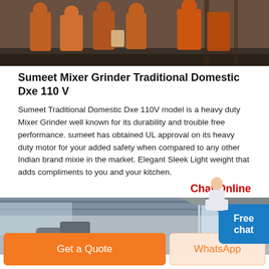[Figure (photo): Photo of workers in orange safety vests in an industrial setting, viewed from behind/side]
Sumeet Mixer Grinder Traditional Domestic Dxe 110 V
Sumeet Traditional Domestic Dxe 110V model is a heavy duty Mixer Grinder well known for its durability and trouble free performance. sumeet has obtained UL approval on its heavy duty motor for your added safety when compared to any other Indian brand mixie in the market. Elegant Sleek Light weight that adds compliments to you and your kitchen.
Chat Online
[Figure (photo): Photo of industrial machinery or grinder equipment inside a warehouse/factory]
Get a Quote
WhatsApp